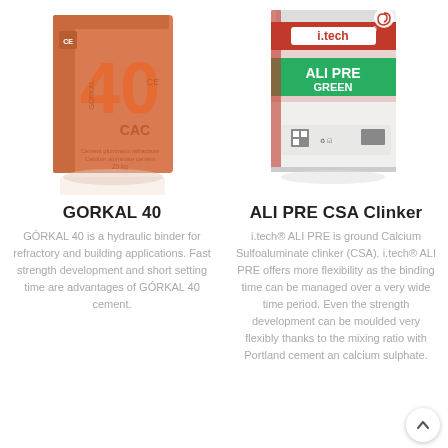[Figure (photo): GORKAL 40 cement bag - orange/terracotta colored 25kg bag with large '40' text and CAC branding]
[Figure (photo): i.tech ALI PRE GREEN calcium sulfoaluminate clinker bag - white bag with green and red branding, spiral logo]
GORKAL 40
ALI PRE CSA Clinker
GÓRKAL 40 is a hydraulic binder for refractory and building applications. Fast strength development and short setting time are advantages of GÓRKAL 40 cement.
i.tech® ALI PRE is ground Calcium Sulfoaluminate clinker (CSA). i.tech® ALI PRE offers more flexibility as the binding time can be managed over a very wide time period. Even the strength development can be moulded very flexibly thanks to the mixing ratio with Portland cement an calcium sulphate.